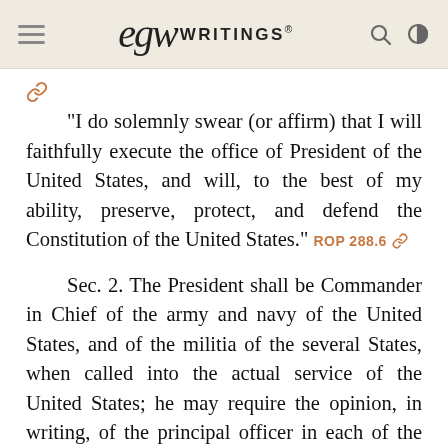EGW WRITINGS®
“I do solemnly swear (or affirm) that I will faithfully execute the office of President of the United States, and will, to the best of my ability, preserve, protect, and defend the Constitution of the United States.” ROP 288.6
Sec. 2. The President shall be Commander in Chief of the army and navy of the United States, and of the militia of the several States, when called into the actual service of the United States; he may require the opinion, in writing, of the principal officer in each of the executive departments, upon any subject relating to the duties of their respective offices, and he shall have power to grant reprieves